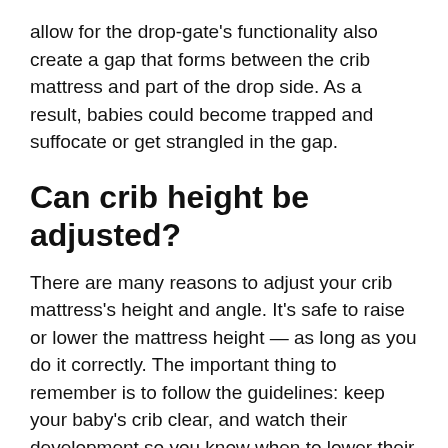allow for the drop-gate's functionality also create a gap that forms between the crib mattress and part of the drop side. As a result, babies could become trapped and suffocate or get strangled in the gap.
Can crib height be adjusted?
There are many reasons to adjust your crib mattress's height and angle. It's safe to raise or lower the mattress height — as long as you do it correctly. The important thing to remember is to follow the guidelines: keep your baby's crib clear, and watch their development so you know when to lower their crib.
A